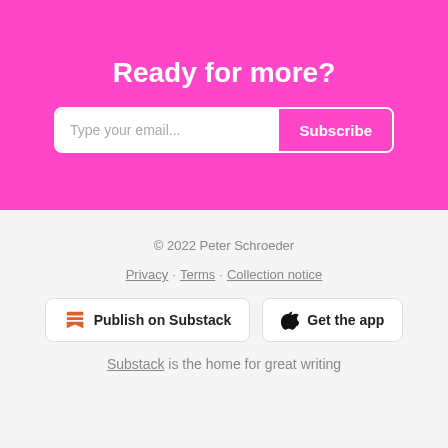Ready for more?
Type your email... Subscribe
© 2022 Peter Schroeder
Privacy · Terms · Collection notice
Publish on Substack
Get the app
Substack is the home for great writing